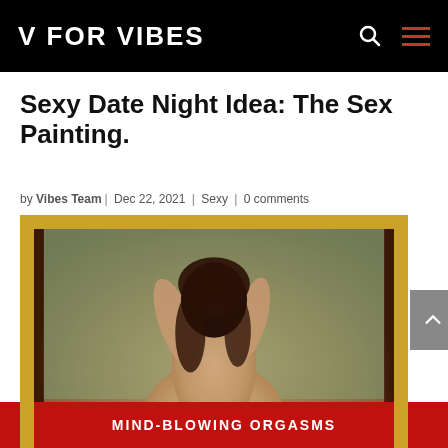V FOR VIBES
Sexy Date Night Idea: The Sex Painting.
by Vibes Team | Dec 22, 2021 | Sexy | 0 comments
[Figure (photo): A figure reflected in a gold-framed mirror in a bathroom setting]
MIND-BLOWING ORGASMS